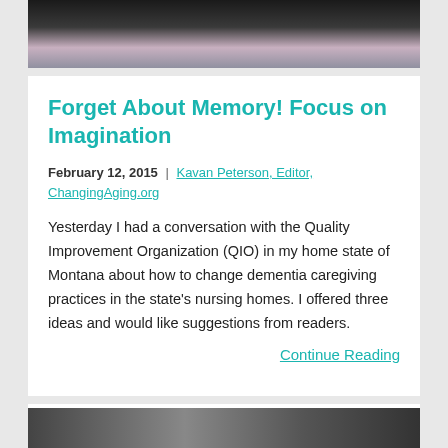[Figure (photo): Top portion of a photo showing a person in a wheelchair, partially cropped]
Forget About Memory! Focus on Imagination
February 12, 2015 | Kavan Peterson, Editor, ChangingAging.org
Yesterday I had a conversation with the Quality Improvement Organization (QIO) in my home state of Montana about how to change dementia caregiving practices in the state's nursing homes. I offered three ideas and would like suggestions from readers.
Continue Reading
[Figure (photo): Bottom of page — partial photo strip, beginning of a second article card]